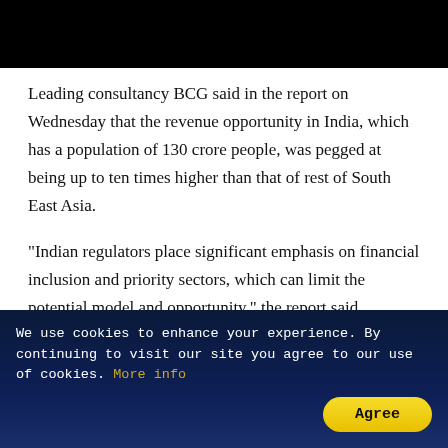[Figure (other): Black header bar at top of page]
Leading consultancy BCG said in the report on Wednesday that the revenue opportunity in India, which has a population of 130 crore people, was pegged at being up to ten times higher than that of rest of South East Asia.
"Indian regulators place significant emphasis on financial inclusion and priority sectors, which can limit the potential model and opportunity," the report said, flagging the policies as among the "strategic hurdles" faced by foreign entities.
We use cookies to enhance your experience. By continuing to visit our site you agree to our use of cookies. More info